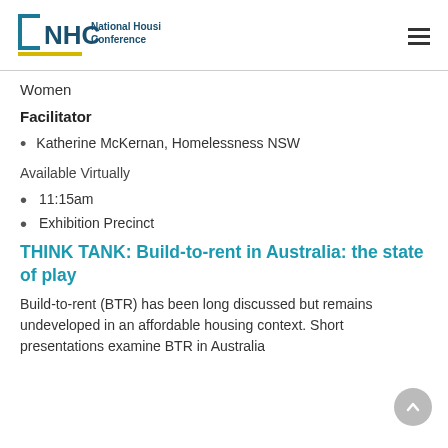[Figure (logo): NHC National Housing Conference logo with teal square bracket and yellow underline accent]
Women
Facilitator
Katherine McKernan, Homelessness NSW
Available Virtually
11:15am
Exhibition Precinct
THINK TANK: Build-to-rent in Australia: the state of play
Build-to-rent (BTR) has been long discussed but remains undeveloped in an affordable housing context. Short presentations examine BTR in Australia